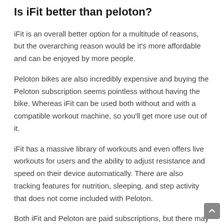Is iFit better than peloton?
iFit is an overall better option for a multitude of reasons, but the overarching reason would be it's more affordable and can be enjoyed by more people.
Peloton bikes are also incredibly expensive and buying the Peloton subscription seems pointless without having the bike. Whereas iFit can be used both without and with a compatible workout machine, so you'll get more use out of it.
iFit has a massive library of workouts and even offers live workouts for users and the ability to adjust resistance and speed on their device automatically. There are also tracking features for nutrition, sleeping, and step activity that does not come included with Peloton.
Both iFit and Peloton are paid subscriptions, but there may be